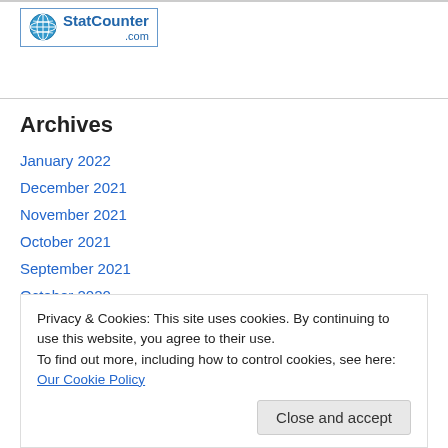[Figure (logo): StatCounter.com logo with globe icon in a blue-bordered box]
Archives
January 2022
December 2021
November 2021
October 2021
September 2021
October 2020
September 2020
Privacy & Cookies: This site uses cookies. By continuing to use this website, you agree to their use.
To find out more, including how to control cookies, see here: Our Cookie Policy
Close and accept
July 2019